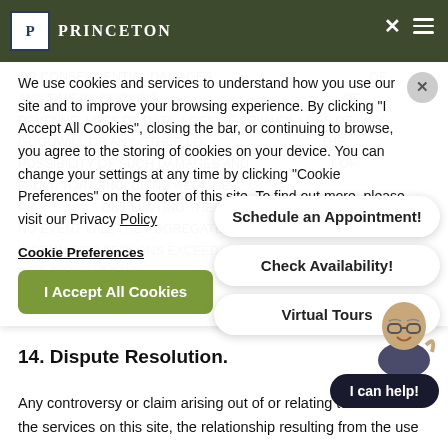[Figure (screenshot): Princeton Properties header bar with logo and navigation icons]
We use cookies and services to understand how you use our site and to improve your browsing experience. By clicking "I Accept All Cookies", closing the bar, or continuing to browse, you agree to the storing of cookies on your device. You can change your settings at any time by clicking "Cookie Preferences" on the footer of this site. To find out more, please visit our Privacy Policy
Cookie Preferences
I Accept All Cookies
[Figure (infographic): Popup chat bubbles: Schedule an Appointment!, Check Availability!, Virtual Tours]
[Figure (illustration): Cartoon bitmoji character with I can help! speech bubble]
OR CONSEQUENTIAL DAMAGES ... REVENUE, LOSS OF DATA, LOSS OF PRIVACY, LOSS OF GOODWILL OR ANY OTHER LOSS ... THE POSSIBILITY OF SUCH DAMAGES AND ... T OF FAULT, TORT (INCLUDING NEGLIGENCE ... PR ... OUT LIMITING THE FOREGOING, IN NO EVENT WILL THE AGGREGATE LIABILITY TO YOU ... E INDEMNIFIED PERSONS EXCEED, IN TOTAL, THE AMOUNTS PAID BY YOU TO US.
14. Dispute Resolution.
Any controversy or claim arising out of or relating to the use of the services on this site, the relationship resulting from the use